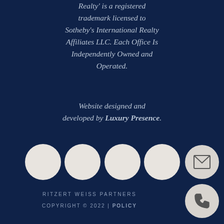Realty' is a registered trademark licensed to Sotheby's International Realty Affiliates LLC. Each Office Is Independently Owned and Operated.
Website designed and developed by Luxury Presence.
[Figure (illustration): Four white circles (social media icons) in a row, with two smaller off-white circles on the right side (email icon and phone icon).]
RITZERT WEISS PARTNERS
COPYRIGHT © 2022 | POLICY